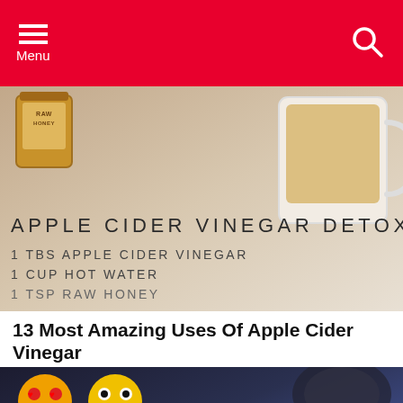Menu
[Figure (photo): Apple Cider Vinegar Detox Tea recipe image showing a mug of liquid and a jar of raw honey with overlay text: APPLE CIDER VINEGAR DETOX TEA: 1 TBS APPLE CIDER VINEGAR 1 CUP HOT WATER]
13 Most Amazing Uses Of Apple Cider Vinegar
[Figure (photo): Shower head with water spray, overlay with emoji icons and text: 1. Don't shower every day. Scientists claim that showering too often removes the skin's oily layer that]
[Figure (photo): Tea bags on soil/ground]
Don't throw away your TeaBags - You should plant them instead
Top Luxury | Sponsored